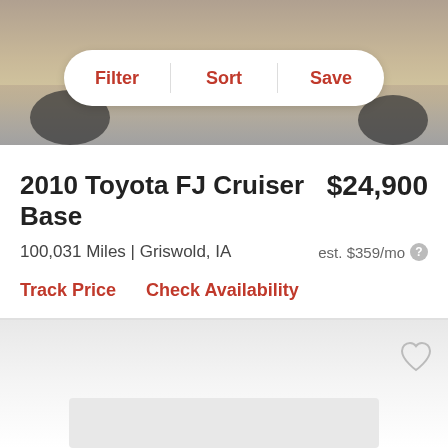[Figure (photo): Top portion of a vehicle listing page showing a car (Toyota FJ Cruiser) parked, partial view of wheels and lower body]
Filter    Sort    Save
2010 Toyota FJ Cruiser Base
$24,900
100,031 Miles | Griswold, IA
est. $359/mo
Track Price    Check Availability
[Figure (photo): Second vehicle listing card with gray gradient background and a heart/save icon in the upper right corner]
[Figure (photo): Partial third listing placeholder with light gray rectangle]